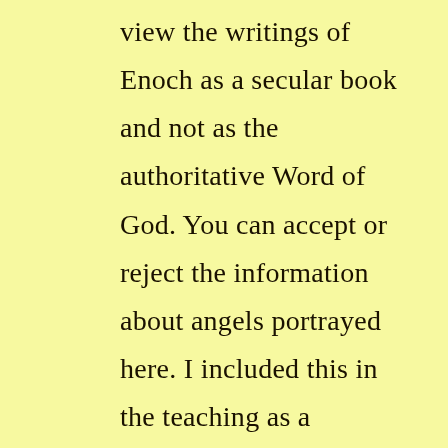view the writings of Enoch as a secular book and not as the authoritative Word of God. You can accept or reject the information about angels portrayed here. I included this in the teaching as a historical secular book to give you some of the basis of